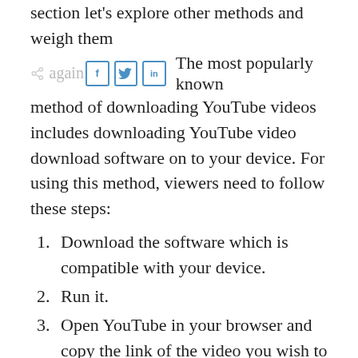section let's explore other methods and weigh them against all options. The most popularly known method of downloading YouTube videos includes downloading YouTube video download software on to your device. For using this method, viewers need to follow these steps:
Download the software which is compatible with your device.
Run it.
Open YouTube in your browser and copy the link of the video you wish to download.
Then open the Downloader and post the link in the address bar.